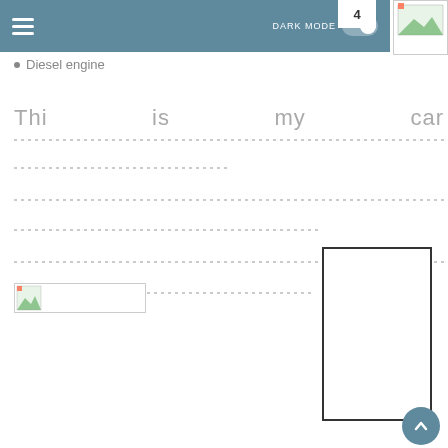4 DARK MODE
Diesel engine
Thi   is   my   car
[Figure (other): Dotted writing lines for handwriting practice]
[Figure (photo): Small image placeholder on left]
[Figure (other): Large image box on right side]